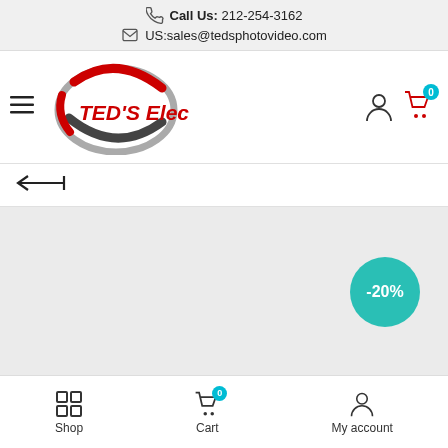Call Us: 212-254-3162
US:sales@tedsphotovideo.com
[Figure (logo): TED'S Electronics logo with red swoosh design and red italic bold text]
← (back arrow)
[Figure (other): Product display area with gray background and -20% discount badge in teal circle]
Shop | Cart | My account